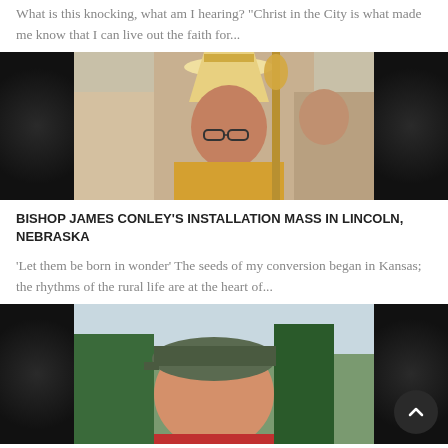What is this knocking, what am I hearing? “Christ in the City is what made me know that I can live out the faith for...
[Figure (photo): Photo of a bishop in full ceremonial vestments including a tall golden mitre and ornate vestments, holding a golden crozier, with other clergy in the background. Dark regions on left and right sides of image.]
BISHOP JAMES CONLEY’S INSTALLATION MASS IN LINCOLN, NEBRASKA
‘Let them be born in wonder’ The seeds of my conversion began in Kansas; the rhythms of the rural life are at the heart of...
[Figure (photo): Photo of a young man wearing a gray cap, with trees in the background. Dark regions on left and right sides of image.]